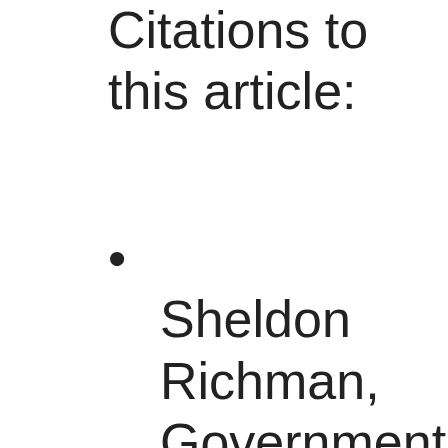Citations to this article:
Sheldon Richman, Government is a liability in the freelance